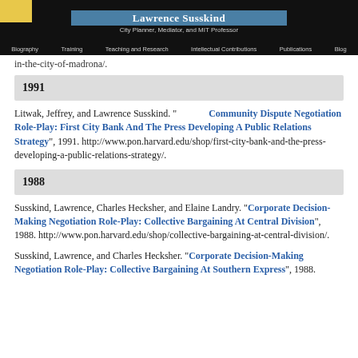Lawrence Susskind — City Planner, Mediator, and MIT Professor
in-the-city-of-madrona/.
1991
Litwak, Jeffrey, and Lawrence Susskind. "Community Dispute Negotiation Role-Play: First City Bank And The Press Developing A Public Relations Strategy", 1991. http://www.pon.harvard.edu/shop/first-city-bank-and-the-press-developing-a-public-relations-strategy/.
1988
Susskind, Lawrence, Charles Hecksher, and Elaine Landry. "Corporate Decision-Making Negotiation Role-Play: Collective Bargaining At Central Division", 1988. http://www.pon.harvard.edu/shop/collective-bargaining-at-central-division/.
Susskind, Lawrence, and Charles Hecksher. "Corporate Decision-Making Negotiation Role-Play: Collective Bargaining At Southern Express", 1988.